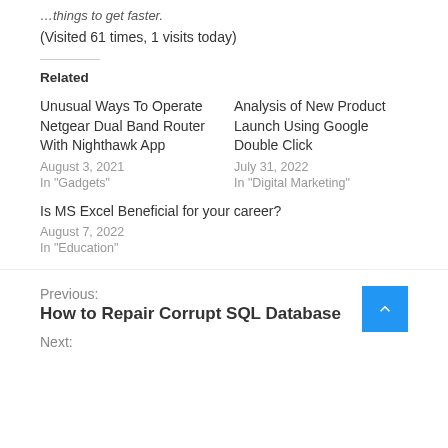…things to get faster.
(Visited 61 times, 1 visits today)
Related
Unusual Ways To Operate Netgear Dual Band Router With Nighthawk App
August 3, 2021
In "Gadgets"
Analysis of New Product Launch Using Google Double Click
July 31, 2022
In "Digital Marketing"
Is MS Excel Beneficial for your career?
August 7, 2022
In "Education"
Previous:
How to Repair Corrupt SQL Database
Next: